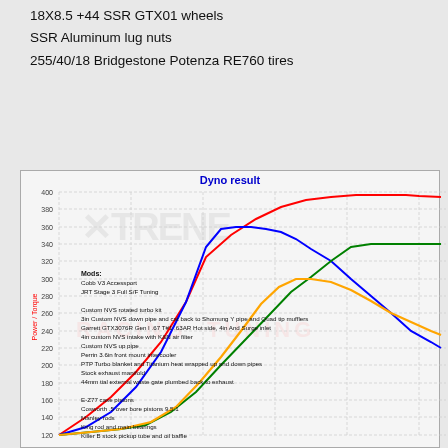18X8.5 +44 SSR GTX01 wheels
SSR Aluminum lug nuts
255/40/18 Bridgestone Potenza RE760 tires
[Figure (continuous-plot): Dyno result chart showing Power/Torque vs RPM curves for four series (red, blue, green, orange). Y-axis labeled Power / Torque with values from ~120 to 400. X-axis is RPM. Legend lists: Mods: Cobb V3 Accessport, JRT Stage 3 Full S/F Tuning, Custom NVS rotated turbo kit, 3in Custom NVS down pipe and cat back to Shomung Y pipe and Quad tip mufflers, Garrett GTX3076R Gen I .67 T#1 .63AR Hot side, 4in And Surge inlet, 4in custom NVS intake with K&N air filter, Custom NVS up pipe, Perrin 3.6in front mount intercooler, PTP Turbo blanket and Titanium heat wrapped up and down pipes, Stock exhaust manifold, 44mm tial external waste gate plumbed back to exhaust, E-Z77 case pistons, Cosworth .5 over bore pistons 9.5:1, Manley rods, King rod and main bearings, Killer B stock pickup tube and oil baffle]